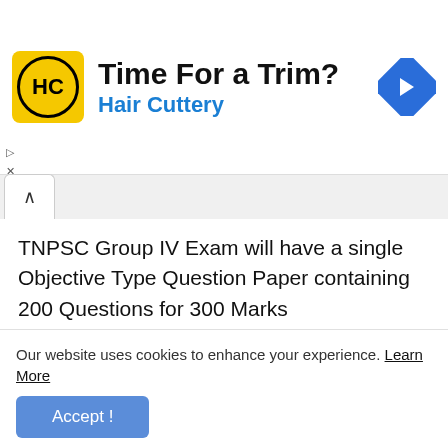[Figure (other): Hair Cuttery advertisement banner with logo, 'Time For a Trim?' headline, and navigation icon]
TNPSC Group IV Exam will have a single Objective Type Question Paper containing 200 Questions for 300 Marks
| Subject | Questions | Duration |
| --- | --- | --- |
| General Studies | 75 |  |
Our website uses cookies to enhance your experience. Learn More
Accept !